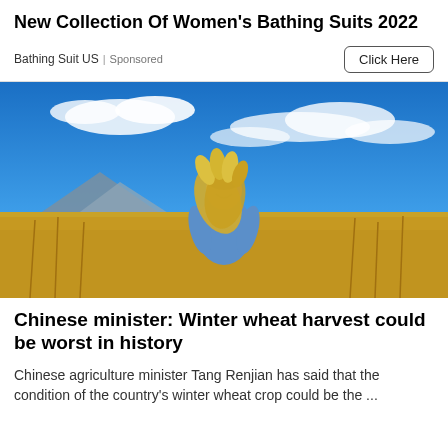New Collection Of Women's Bathing Suits 2022
Bathing Suit US | Sponsored
[Figure (photo): Person smiling in a wheat field holding harvested wheat stalks, blue sky with clouds and mountains in background]
Chinese minister: Winter wheat harvest could be worst in history
Chinese agriculture minister Tang Renjian has said that the condition of the country's winter wheat crop could be the ...